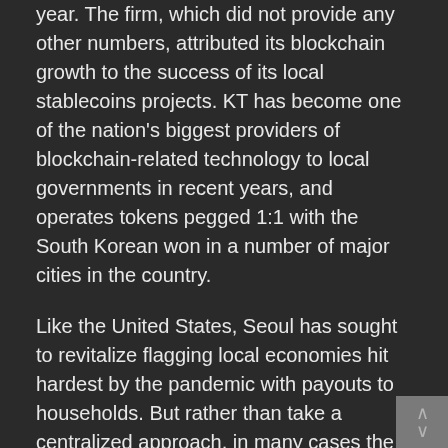year. The firm, which did not provide any other numbers, attributed its blockchain growth to the success of its local stablecoins projects. KT has become one of the nation's biggest providers of blockchain-related technology to local governments in recent years, and operates tokens pegged 1:1 with the South Korean won in a number of major cities in the country.
Like the United States, Seoul has sought to revitalize flagging local economies hit hardest by the pandemic with payouts to households. But rather than take a centralized approach, in many cases the government has handed responsibility for the endeavor to local and city governments.
In addition, Seoul has prioritized contact-free payment solutions as a growth engine in the wake of the pandemic, a move that has driven many local governments to distribute funds to citizens in the form of local stablecoins,